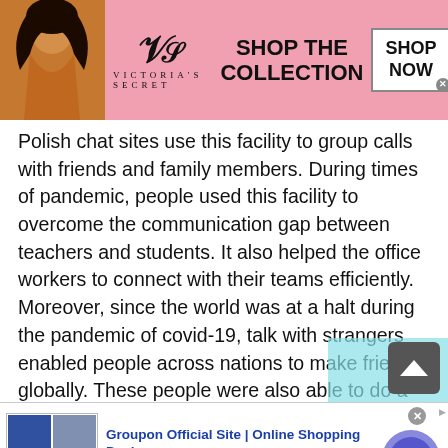[Figure (screenshot): Victoria's Secret advertisement banner with pink background, model photo, VS logo, 'SHOP THE COLLECTION' text, and 'SHOP NOW' button]
Polish chat sites use this facility to group calls with friends and family members. During times of pandemic, people used this facility to overcome the communication gap between teachers and students. It also helped the office workers to connect with their teams efficiently. Moreover, since the world was at a halt during the pandemic of covid-19, talk with strangers enabled people across nations to make friends globally. These people were also able to do a conference call to enhance friendships.
[Figure (screenshot): Groupon advertisement banner: 'Groupon Official Site | Online Shopping Deals — Discover & Save with Over 300k of the Best Deals — www.groupon.com' with thumbnail images and navigation arrow button]